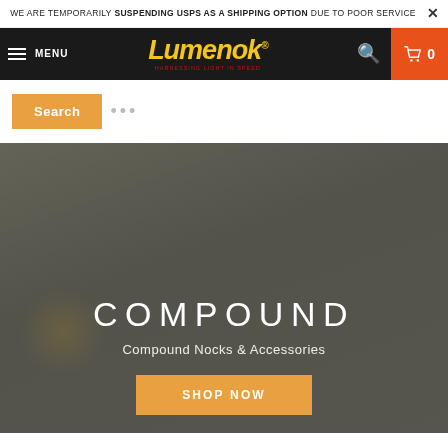WE ARE TEMPORARILY SUSPENDING USPS AS A SHIPPING OPTION DUE TO POOR SERVICE
[Figure (screenshot): Lumenok website navigation bar with hamburger menu, Lumenok logo in yellow italic text, search icon, and shopping cart button]
[Figure (screenshot): Search bar area with orange Search button and ellipsis dots]
[Figure (photo): Hero banner with dark/gray blurred outdoor background]
COMPOUND
Compound Nocks & Accessories
SHOP NOW